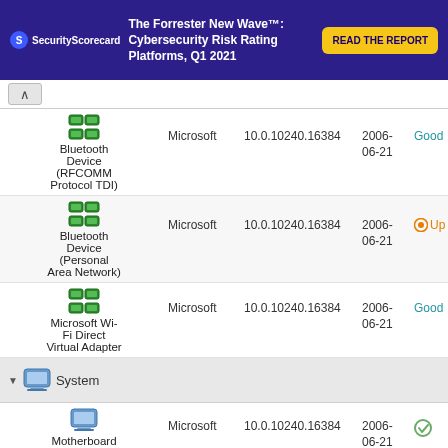[Figure (screenshot): SecurityScorecard advertisement banner: 'The Forrester New Wave™: Cybersecurity Risk Rating Platforms, Q1 2021' with a 'READ THE REPORT' button]
| Device | Vendor | Version | Date | Status |
| --- | --- | --- | --- | --- |
| Bluetooth Device (RFCOMM Protocol TDI) | Microsoft | 10.0.10240.16384 | 2006-06-21 | Good |
| Bluetooth Device (Personal Area Network) | Microsoft | 10.0.10240.16384 | 2006-06-21 | Update |
| Microsoft Wi-Fi Direct Virtual Adapter | Microsoft | 10.0.10240.16384 | 2006-06-21 | Good |
| System |  |  |  |  |
| Motherboard resources | Microsoft | 10.0.10240.16384 | 2006-06-21 |  |
| Motherboard resources | Microsoft | 10.0.10240.16384 | 2006-06-21 |  |
| Motherboard resources (partial) | Microsoft | 10.0.10240.16384 | 2006- |  |